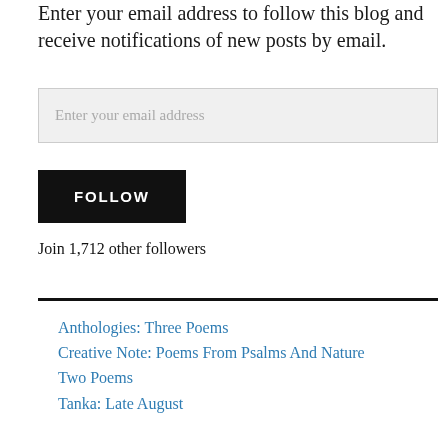Enter your email address to follow this blog and receive notifications of new posts by email.
Enter your email address
FOLLOW
Join 1,712 other followers
Anthologies: Three Poems
Creative Note: Poems From Psalms And Nature
Two Poems
Tanka: Late August